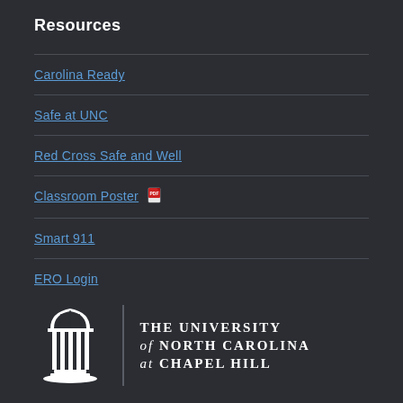Resources
Carolina Ready
Safe at UNC
Red Cross Safe and Well
Classroom Poster [PDF icon]
Smart 911
ERO Login
[Figure (logo): UNC Old Well logo with vertical divider bar and text: THE UNIVERSITY of NORTH CAROLINA at CHAPEL HILL in white on dark background]